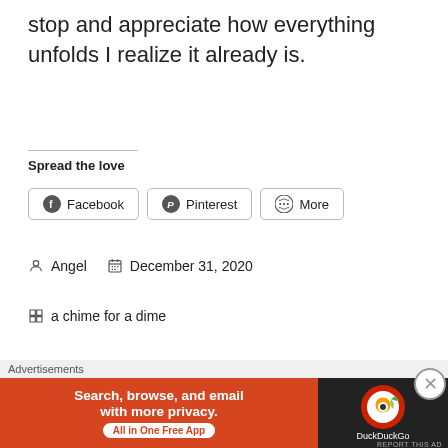stop and appreciate how everything unfolds I realize it already is.
Spread the love
[Figure (other): Share buttons: Facebook, Pinterest, More]
Angel   December 31, 2020
a chime for a dime
Leave a Reply
[Figure (other): Advertisement banner: DuckDuckGo - Search, browse, and email with more privacy. All in One Free App.]